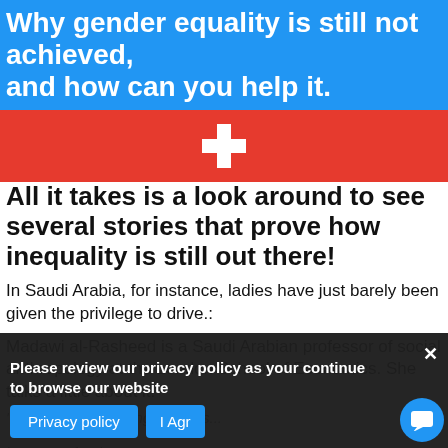Why gender equality is still not achieved, and how can you help it.
[Figure (illustration): Swiss flag on red background — white cross centered on red rectangle]
All it takes is a look around to see several stories that prove how inequality is still out there!
In Saudi Arabia, for instance, ladies have just barely been given the privilege to drive.:
Madawi al-Rasheed is a Saudi Arabian professor of social anthropology at the London School of Economics. She talks a little about it.
"We talk about driving as if it is... important for the women's m... legal restrictions that are still in place, that are also a pressing
Please review our privacy policy as your continue to browse our website